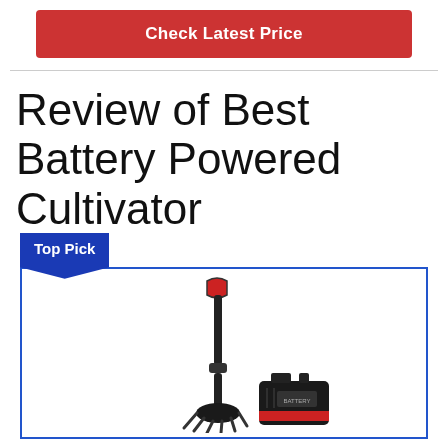Check Latest Price
Review of Best Battery Powered Cultivator
Top Pick
[Figure (photo): Battery powered cultivator tool shown with detached battery pack. Black metal cultivator with red accents at the top handle, tillers at the bottom, and a separate red/black battery pack to the right.]